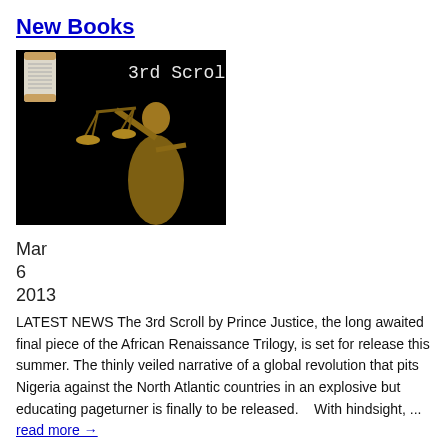New Books
[Figure (photo): Book cover for '3rd Scroll' showing a bronze/gold statue of Lady Justice holding scales against a black background, with a scroll partially visible at upper left. Text '3rd Scroll' in monospace font overlaid on the image.]
Mar
6
2013
LATEST NEWS The 3rd Scroll by Prince Justice, the long awaited final piece of the African Renaissance Trilogy, is set for release this summer. The thinly veiled narrative of a global revolution that pits Nigeria against the North Atlantic countries in an explosive but educating pageturner is finally to be released.    With hindsight, ... read more →